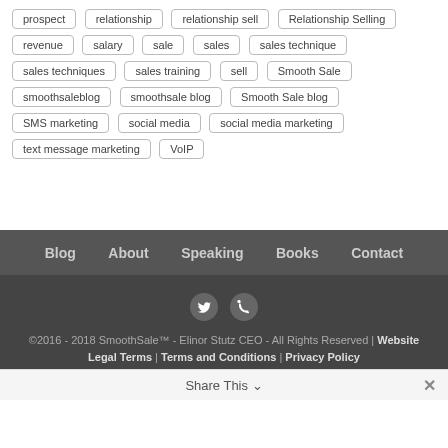prospect
relationship
relationship sell
Relationship Selling
revenue
salary
sale
sales
sales technique
sales techniques
sales training
sell
Smooth Sale
smoothsaleblog
smoothsale blog
Smooth Sale blog
SMS marketing
social media
social media marketing
text message marketing
VoIP
Blog | About | Speaking | Books | Contact
©2016 - 2018 SmoothSale™ - Elinor Stutz CEO - All Rights Reserved | Website Legal Terms | Terms and Conditions | Privacy Policy
Share This